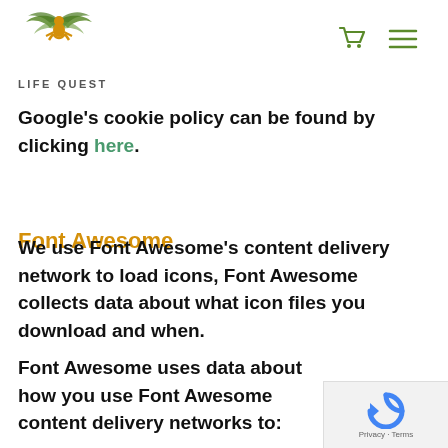Life Quest
Google’s cookie policy can be found by clicking here.
Font Awesome
We use Font Awesome’s content delivery network to load icons, Font Awesome collects data about what icon files you download and when.
Font Awesome uses data about how you use Font Awesome content delivery networks to: